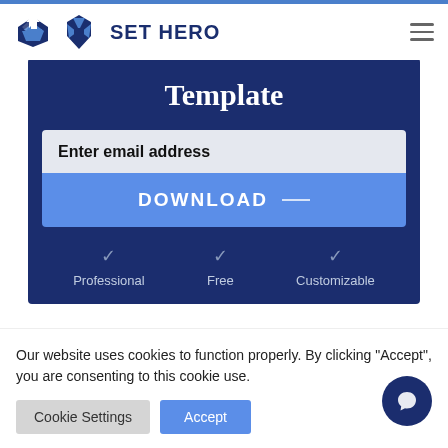SET HERO
Simple Storyboard
Template
Enter email address
DOWNLOAD
Professional   Free   Customizable
Our website uses cookies to function properly. By clicking "Accept", you are consenting to this cookie use.
Cookie Settings   Accept